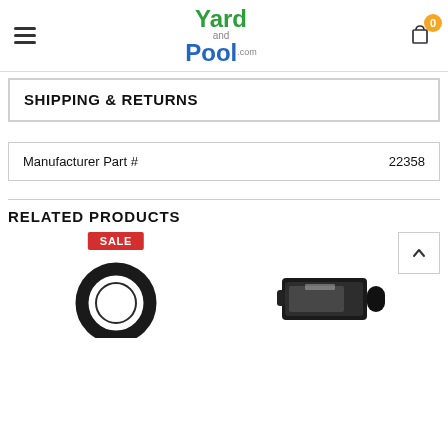Yard and Pool .com
SHIPPING & RETURNS
| Manufacturer Part # | 22358 |
| --- | --- |
RELATED PRODUCTS
[Figure (photo): Product image of a circular rubber gasket/O-ring for pool equipment with a SALE badge]
[Figure (photo): Product image of a black cylindrical pool pump motor]